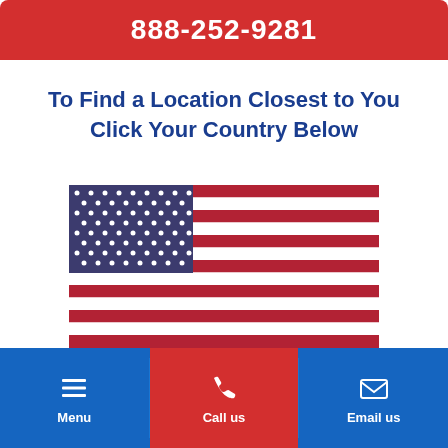888-252-9281
To Find a Location Closest to You Click Your Country Below
[Figure (illustration): American flag (stars and stripes) followed by partial stripes, then Canadian flag with maple leaf — country selection buttons]
Menu | Call us | Email us